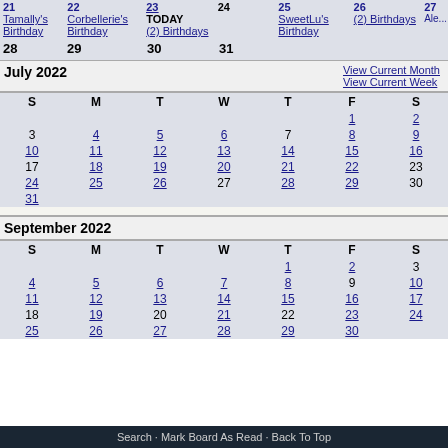| 21 | 22 | TODAY | 24 | 25 | 26 | 27 |
| --- | --- | --- | --- | --- | --- | --- |
| Tamally's Birthday | Corbellerie's Birthday | (2) Birthdays |  | SweetLu's Birthday | (2) Birthdays | Ale... Birt... |
| 28 | 29 | 30 | 31 |  |  |  |
July 2022 | View Current Month | View Current Week
| S | M | T | W | T | F | S |
| --- | --- | --- | --- | --- | --- | --- |
|  |  |  |  |  | 1 | 2 |
| 3 | 4 | 5 | 6 | 7 | 8 | 9 |
| 10 | 11 | 12 | 13 | 14 | 15 | 16 |
| 17 | 18 | 19 | 20 | 21 | 22 | 23 |
| 24 | 25 | 26 | 27 | 28 | 29 | 30 |
| 31 |  |  |  |  |  |  |
September 2022
| S | M | T | W | T | F | S |
| --- | --- | --- | --- | --- | --- | --- |
|  |  |  |  | 1 | 2 | 3 |
| 4 | 5 | 6 | 7 | 8 | 9 | 10 |
| 11 | 12 | 13 | 14 | 15 | 16 | 17 |
| 18 | 19 | 20 | 21 | 22 | 23 | 24 |
| 25 | 26 | 27 | 28 | 29 | 30 |  |
Search · Mark Board As Read · Back To Top